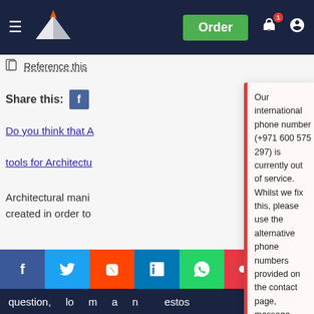Navigation bar with logo, Order button, notification and account icons
Reference this
Share this:
Do you think that A
tools for Architectu
Architectural mani
created in order to
and opinion about the writer wants to tackle. Manifestos can
be seen useful or not useful by, specific audiences ar
topics they cover. In exploring this
Our international phone number (+971 600 575 297) is currently out of service. Whilst we fix this, please use the alternative phone numbers provided on the contact page, message through your customer account or click the WhatsApp button from your mobile (Monday – Friday 9am – 5pm, Saturday 10am – 6pm UK time).
August 20, 2022
question,
Social share bar and bottom navigation